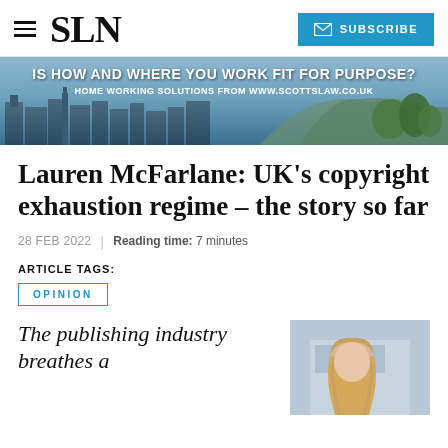SLN | SUBSCRIBE
[Figure (photo): Banner advertisement showing Edinburgh skyline with text: IS HOW AND WHERE YOU WORK FIT FOR PURPOSE? HOME WORKING SOLUTIONS FROM WWW.SCOTTSLAW.CO.UK]
Lauren McFarlane: UK’s copyright exhaustion regime – the story so far
28 FEB 2022 | Reading time: 7 minutes
ARTICLE TAGS:
OPINION
The publishing industry breathes a
[Figure (photo): Headshot of Lauren McFarlane, a woman with long blonde hair, in front of a building]